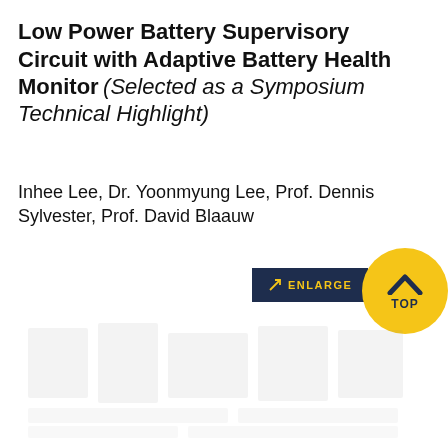Low Power Battery Supervisory Circuit with Adaptive Battery Health Monitor (Selected as a Symposium Technical Highlight)
Inhee Lee, Dr. Yoonmyung Lee, Prof. Dennis Sylvester, Prof. David Blaauw
[Figure (other): Enlarge button (dark navy background with yellow arrow icon and ENLARGE text) and a TOP navigation button (yellow circle with navy chevron and TOP label). Below is a faded/watermark area showing a blurred circuit or figure image.]